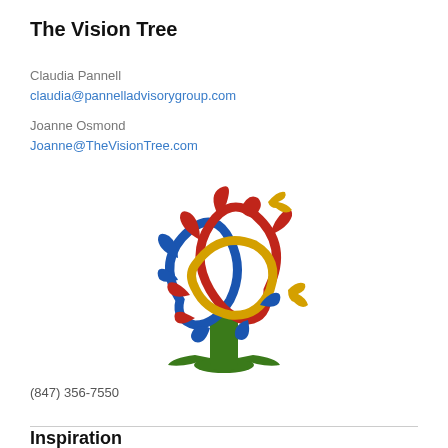The Vision Tree
Claudia Pannell
claudia@pannelladvisorygroup.com
Joanne Osmond
Joanne@TheVisionTree.com
[Figure (logo): The Vision Tree logo: a stylized tree with red, blue, yellow/gold interlocking swirling branches and a green trunk and roots]
(847) 356-7550
Inspiration